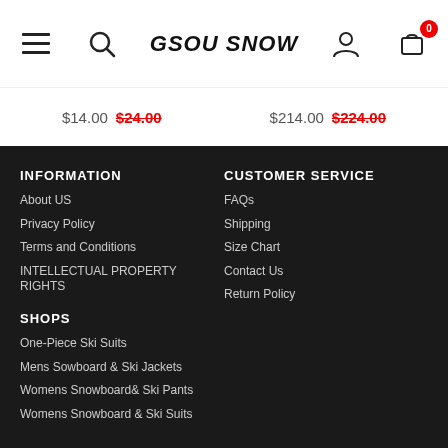GSOU SNOW — navigation header with hamburger menu, search, logo, user icon, cart (0)
$14.00  $24.00    $214.00  $224.00
INFORMATION
About US
Privacy Policy
Terms and Conditions
INTELLECTUAL PROPERTY RIGHTS
SHOPS
One-Piece Ski Suits
Mens Sowboard & Ski Jackets
Womens Snowboard& Ski Pants
Womens Snowboard & Ski Suits
CUSTOMER SERVICE
FAQs
Shipping
Size Chart
Contact Us
Return Policy